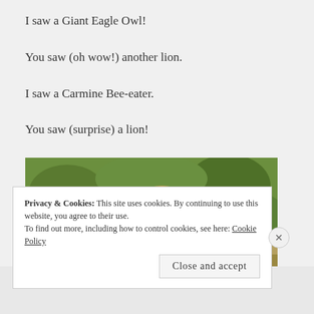I saw a Giant Eagle Owl!
You saw (oh wow!) another lion.
I saw a Carmine Bee-eater.
You saw (surprise) a lion!
[Figure (photo): A lion with mouth wide open, roaring, with green vegetation in the background]
Privacy & Cookies: This site uses cookies. By continuing to use this website, you agree to their use.
To find out more, including how to control cookies, see here: Cookie Policy
Close and accept